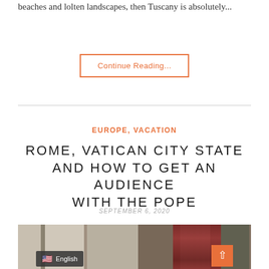beaches and lolten landscapes, then Tuscany is absolutely...
Continue Reading...
EUROPE, VACATION
ROME, VATICAN CITY STATE AND HOW TO GET AN AUDIENCE WITH THE POPE
SEPTEMBER 6, 2020
[Figure (photo): A photo showing Vatican or Roman architecture with columns, a curtain, and Swiss Guards in traditional uniforms.]